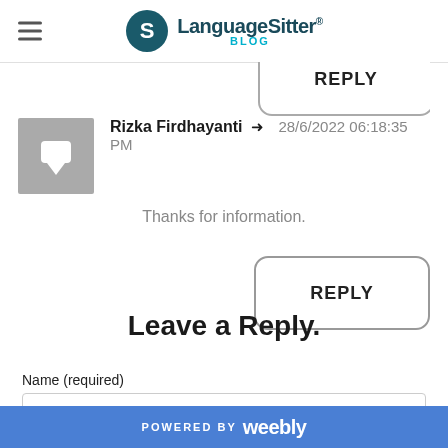LanguageSitter® BLOG
[Figure (screenshot): Partially visible REPLY button at top of page]
Rizka Firdhayanti → 28/6/2022 06:18:35 PM
Thanks for information.
REPLY
Leave a Reply.
Name (required)
POWERED BY weebly